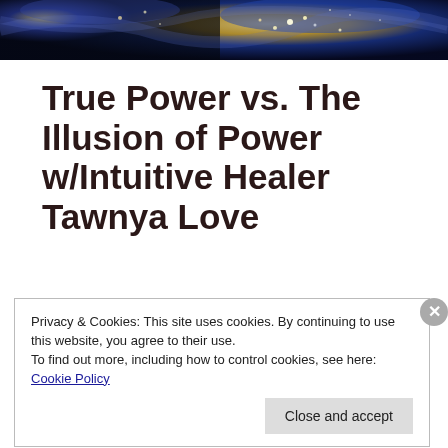[Figure (photo): Satellite/aerial night view of Earth showing city lights and ocean, dark blue tones with bright light clusters]
True Power vs. The Illusion of Power w/Intuitive Healer Tawnya Love
Privacy & Cookies: This site uses cookies. By continuing to use this website, you agree to their use.
To find out more, including how to control cookies, see here: Cookie Policy
Close and accept